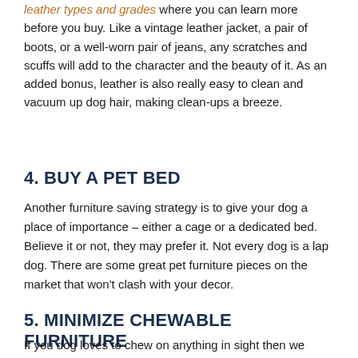leather types and grades where you can learn more before you buy. Like a vintage leather jacket, a pair of boots, or a well-worn pair of jeans, any scratches and scuffs will add to the character and the beauty of it. As an added bonus, leather is also really easy to clean and vacuum up dog hair, making clean-ups a breeze.
4. BUY A PET BED
Another furniture saving strategy is to give your dog a place of importance – either a cage or a dedicated bed. Believe it or not, they may prefer it. Not every dog is a lap dog. There are some great pet furniture pieces on the market that won't clash with your decor.
5. MINIMIZE CHEWABLE FURNITURE
If you dog loves to chew on anything in sight then we